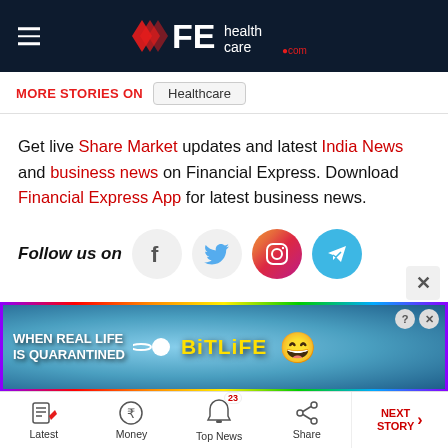FE healthcare .com
MORE STORIES ON   Healthcare
Get live Share Market updates and latest India News and business news on Financial Express. Download Financial Express App for latest business news.
Follow us on
[Figure (screenshot): Social media icons for Facebook, Twitter, Instagram, and Telegram]
[Figure (screenshot): Advertisement banner: WHEN REAL LIFE IS QUARANTINED - BitLife game ad]
Latest   Money   Top News (23)   Share   NEXT STORY